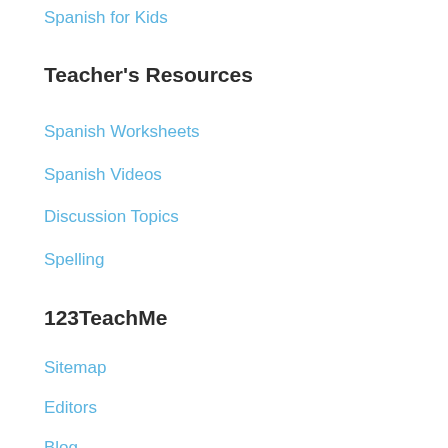Spanish for Kids
Teacher's Resources
Spanish Worksheets
Spanish Videos
Discussion Topics
Spelling
123TeachMe
Sitemap
Editors
Blog
Be Social
[Figure (illustration): Partial circular social media icon with 'You' text visible at bottom]